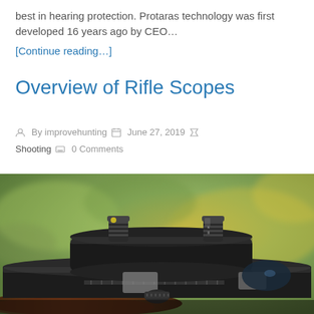best in hearing protection. Protaras technology was first developed 16 years ago by CEO…
[Continue reading…]
Overview of Rifle Scopes
By improvehunting   June 27, 2019   Shooting   0 Comments
[Figure (photo): Close-up photograph of rifle scopes mounted on a rifle, showing adjustment turrets and scope body with blurred green foliage background]